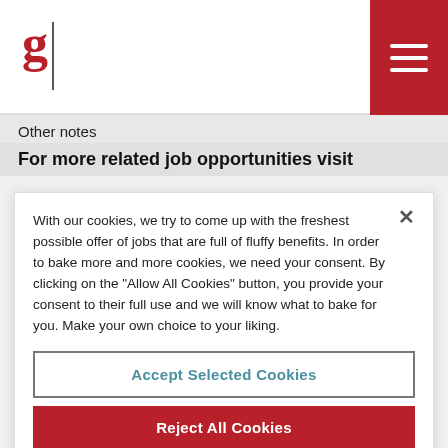[Figure (logo): Red letter 'g' with vertical bar separator forming a logo]
[Figure (illustration): Red hamburger menu button (three white lines on red background) in top-right corner]
Other notes
For more related job opportunities visit
With our cookies, we try to come up with the freshest possible offer of jobs that are full of fluffy benefits. In order to bake more and more cookies, we need your consent. By clicking on the "Allow All Cookies" button, you provide your consent to their full use and we will know what to bake for you. Make your own choice to your liking.
Accept Selected Cookies
Reject All Cookies
Accept All Cookies